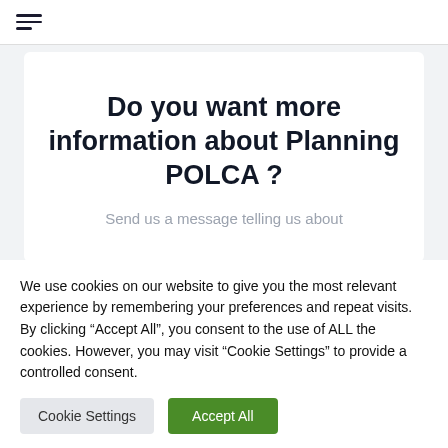[Figure (screenshot): Navigation bar with hamburger menu icon]
Do you want more information about Planning POLCA ?
Send us a message telling us about
We use cookies on our website to give you the most relevant experience by remembering your preferences and repeat visits. By clicking “Accept All”, you consent to the use of ALL the cookies. However, you may visit “Cookie Settings” to provide a controlled consent.